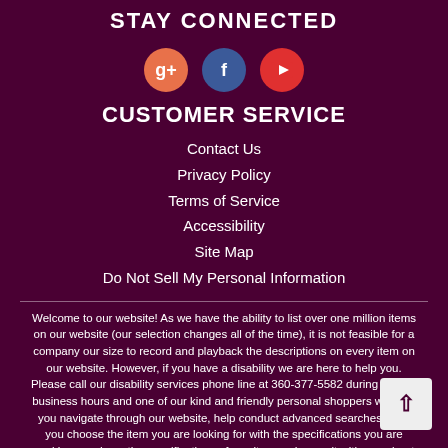STAY CONNECTED
[Figure (illustration): Three social media icons: Google+ (orange circle), Facebook (blue circle with f), YouTube (red circle with play button)]
CUSTOMER SERVICE
Contact Us
Privacy Policy
Terms of Service
Accessibility
Site Map
Do Not Sell My Personal Information
Welcome to our website! As we have the ability to list over one million items on our website (our selection changes all of the time), it is not feasible for a company our size to record and playback the descriptions on every item on our website. However, if you have a disability we are here to help you. Please call our disability services phone line at 360-377-5582 during regular business hours and one of our kind and friendly personal shoppers will help you navigate through our website, help conduct advanced searches, help you choose the item you are looking for with the specifications you are seeking, read you the specifications of any item and consult with you about